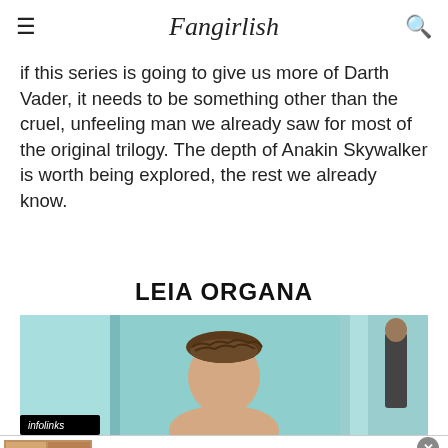Fangirlish
if this series is going to give us more of Darth Vader, it needs to be something other than the cruel, unfeeling man we already saw for most of the original trilogy. The depth of Anakin Skywalker is worth being explored, the rest we already know.
LEIA ORGANA
[Figure (photo): Photo of Leia Organa character with braided hair, in a teal/blue environment, another figure visible in background. Infolinks badge in lower left.]
[Figure (other): Advertisement banner for BELK - Denim all day. www.belk.com, with product image thumbnails and a navigation arrow button.]